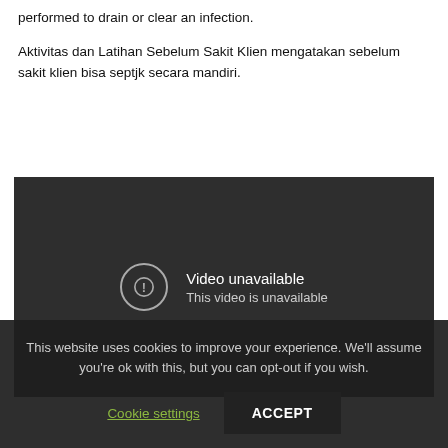performed to drain or clear an infection.
Aktivitas dan Latihan Sebelum Sakit Klien mengatakan sebelum sakit klien bisa septjk secara mandiri.
[Figure (screenshot): Embedded video player showing 'Video unavailable' message with subtext 'This video is unavailable' on a dark background.]
This website uses cookies to improve your experience. We'll assume you're ok with this, but you can opt-out if you wish.
Cookie settings   ACCEPT